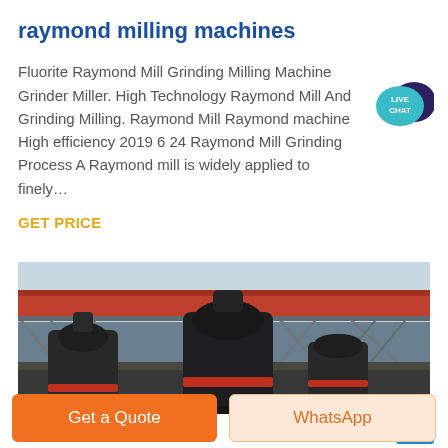raymond milling machines
Fluorite Raymond Mill Grinding Milling Machine Grinder Miller. High Technology Raymond Mill And Grinding Milling. Raymond Mill Raymond machine High efficiency 2019 6 24 Raymond Mill Grinding Process A Raymond mill is widely applied to finely…
GET PRICE
[Figure (photo): Photo of industrial Raymond milling machines (large cylindrical grinding equipment) installed outdoors under a steel truss structure with a red accent beam in the background.]
Get a Quote   WhatsApp